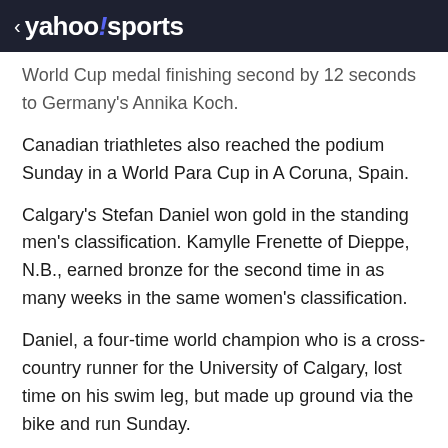< yahoo!sports
World Cup medal finishing second by 12 seconds to Germany's Annika Koch.
Canadian triathletes also reached the podium Sunday in a World Para Cup in A Coruna, Spain.
Calgary's Stefan Daniel won gold in the standing men's classification. Kamylle Frenette of Dieppe, N.B., earned bronze for the second time in as many weeks in the same women's classification.
Daniel, a four-time world champion who is a cross-country runner for the University of Calgary, lost time on his swim leg, but made up ground via the bike and run Sunday.
View comments